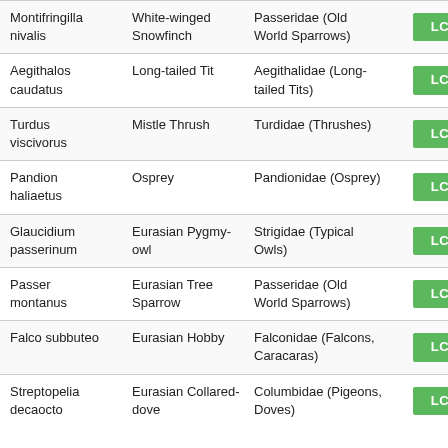| Scientific Name | Common Name | Family | Status |
| --- | --- | --- | --- |
| Montifringilla nivalis | White-winged Snowfinch | Passeridae (Old World Sparrows) | LC |
| Aegithalos caudatus | Long-tailed Tit | Aegithalidae (Long-tailed Tits) | LC |
| Turdus viscivorus | Mistle Thrush | Turdidae (Thrushes) | LC |
| Pandion haliaetus | Osprey | Pandionidae (Osprey) | LC |
| Glaucidium passerinum | Eurasian Pygmy-owl | Strigidae (Typical Owls) | LC |
| Passer montanus | Eurasian Tree Sparrow | Passeridae (Old World Sparrows) | LC |
| Falco subbuteo | Eurasian Hobby | Falconidae (Falcons, Caracaras) | LC |
| Streptopelia decaocto | Eurasian Collared-dove | Columbidae (Pigeons, Doves) | LC |